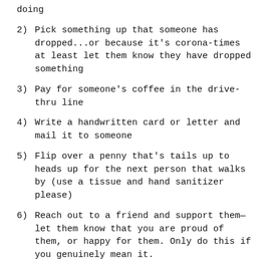doing
2) Pick something up that someone has dropped...or because it's corona-times at least let them know they have dropped something
3) Pay for someone's coffee in the drive-thru line
4) Write a handwritten card or letter and mail it to someone
5) Flip over a penny that's tails up to heads up for the next person that walks by (use a tissue and hand sanitizer please)
6) Reach out to a friend and support them—let them know that you are proud of them, or happy for them. Only do this if you genuinely mean it.
7)